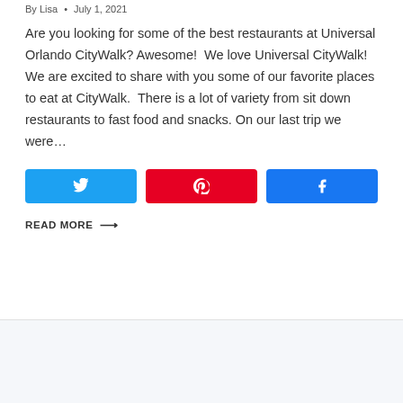By Lisa • July 1, 2021
Are you looking for some of the best restaurants at Universal Orlando CityWalk? Awesome!  We love Universal CityWalk!  We are excited to share with you some of our favorite places to eat at CityWalk.  There is a lot of variety from sit down restaurants to fast food and snacks. On our last trip we were…
[Figure (other): Social share buttons: Twitter (blue), Pinterest (red), Facebook (blue)]
READ MORE →